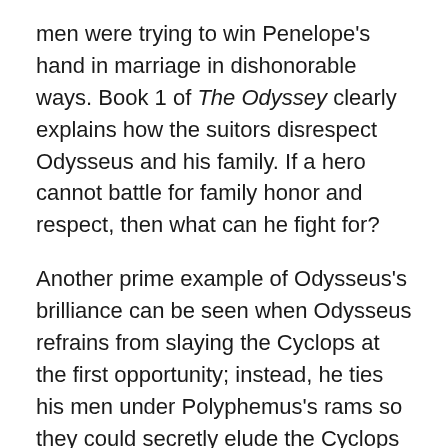men were trying to win Penelope's hand in marriage in dishonorable ways. Book 1 of The Odyssey clearly explains how the suitors disrespect Odysseus and his family. If a hero cannot battle for family honor and respect, then what can he fight for?
Another prime example of Odysseus's brilliance can be seen when Odysseus refrains from slaying the Cyclops at the first opportunity; instead, he ties his men under Polyphemus's rams so they could secretly elude the Cyclops (Book 9, lines 336-346, 381). The profound self control Odysseus exhibits is a quality identified as a classic characteristic of an epic hero. It shows his ability to make rational decisions in circumstances under which a common person may panic and act spontaneously. Additionally, Odysseus's care for his men and loyalty to his